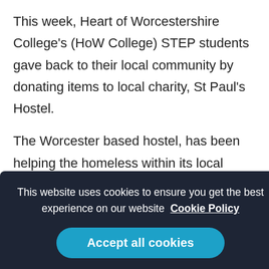This week, Heart of Worcestershire College's (HoW College) STEP students gave back to their local community by donating items to local charity, St Paul's Hostel.
The Worcester based hostel, has been helping the homeless within its local community since it was established in 1977. The organisation has 46 single rooms as well as a number of accommodation units
As part of their community project, students from
This website uses cookies to ensure you get the best experience on our website Cookie Policy
Accept all cookies